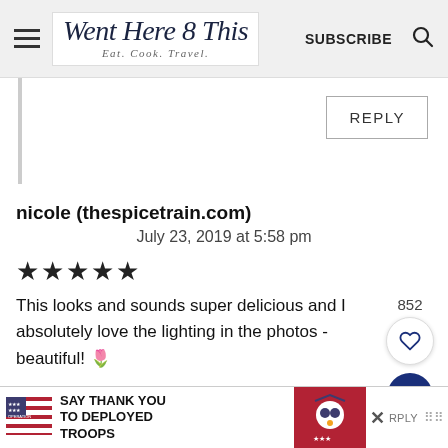Went Here 8 This — Eat. Cook. Travel. | SUBSCRIBE
REPLY
nicole (thespicetrain.com)
July 23, 2019 at 5:58 pm
★★★★★
This looks and sounds super delicious and I absolutely love the lighting in the photos - beautiful! 🌷
[Figure (other): Operation Gratitude ad: SAY THANK YOU TO DEPLOYED TROOPS]
852